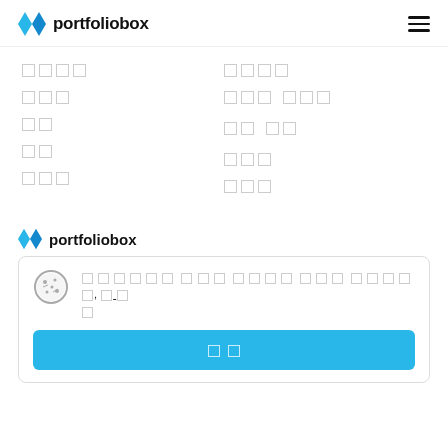portfoliobox
□□□□
□□□
□□
□□
□□□
□□□□
□□□ □□□
□□ □□
□□□
□□□
portfoliobox
□ □□□□□ □□□ □□□□ □□□□□□ □□□ □□□ □□□□□. □□ □